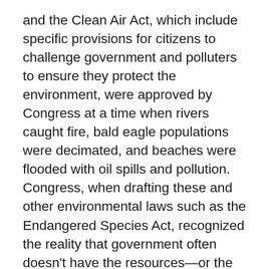and the Clean Air Act, which include specific provisions for citizens to challenge government and polluters to ensure they protect the environment, were approved by Congress at a time when rivers caught fire, bald eagle populations were decimated, and beaches were flooded with oil spills and pollution. Congress, when drafting these and other environmental laws such as the Endangered Species Act, recognized the reality that government often doesn't have the resources—or the will—to enforce laws that protect our environment, and specifically included citizen enforcement provisions. Our legal and democratic rights in these environmental laws remain the envy of the rest of the world.
Earthjustice works tirelessly to guarantee these